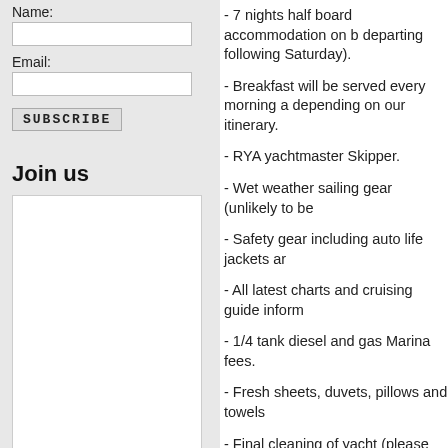Name:
Email:
SUBSCRIBE
Join us
- 7 nights half board accommodation on b departing following Saturday).
- Breakfast will be served every morning a depending on our itinerary.
- RYA yachtmaster Skipper.
- Wet weather sailing gear (unlikely to be
- Safety gear including auto life jackets ar
- All latest charts and cruising guide inform
- 1/4 tank diesel and gas Marina fees.
- Fresh sheets, duvets, pillows and towels
- Final cleaning of yacht (please see our t
- Welcome drinks on arrival Stand up Pac free of charge.